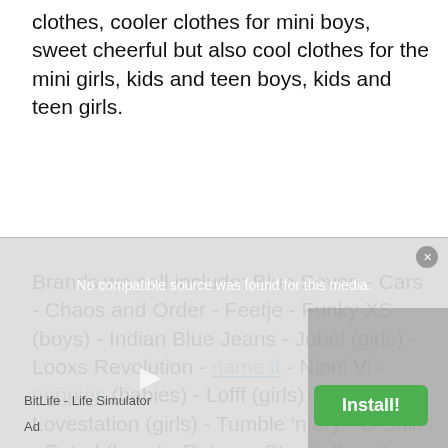clothes, cooler clothes for mini boys, sweet cheerful but also cool clothes for the mini girls, kids and teen boys, kids and teen girls.
Brands we sell include: Blue Seven - Cars - Chaos and Order - Feetje - Funky XS (boys) - Indian Blue Jeans - Jubel (girls) - Looxs Revolution - name it - Ninni Vi - noppies (babies) - Lofff (girls) - Lovestation (girls) - Tumble 'n dry - O'Chill - Petrol (boys) - Return - Sturdy (boys) - Vingino - Z8.
[Figure (screenshot): Ad overlay showing 'No compatible source was found for this media.' message with BitLife - Life Simulator app advertisement and green Install! button]